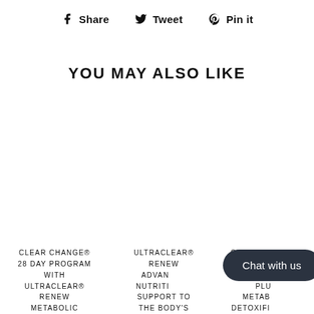f Share   Tweet   Pin it
YOU MAY ALSO LIKE
CLEAR CHANGE® 28 DAY PROGRAM WITH ULTRACLEAR® RENEW METABOLIC
ULTRACLEAR® RENEW ADVANCED NUTRITIONAL SUPPORT TO THE BODY'S
CLEAR CHANGE® DAY PROGRAM WITH ULTRACLEAR® PLUS METABOLIC DETOXIFI
Chat with us